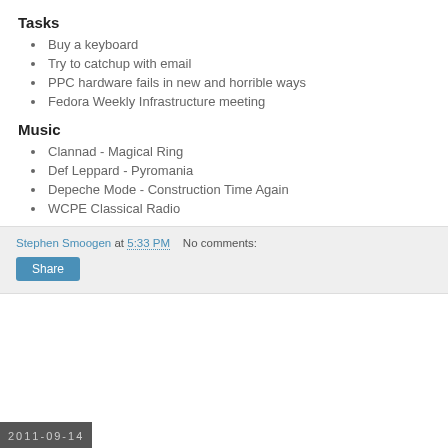Tasks
Buy a keyboard
Try to catchup with email
PPC hardware fails in new and horrible ways
Fedora Weekly Infrastructure meeting
Music
Clannad - Magical Ring
Def Leppard - Pyromania
Depeche Mode - Construction Time Again
WCPE Classical Radio
Stephen Smoogen at 5:33 PM   No comments:   Share
2011-09-14